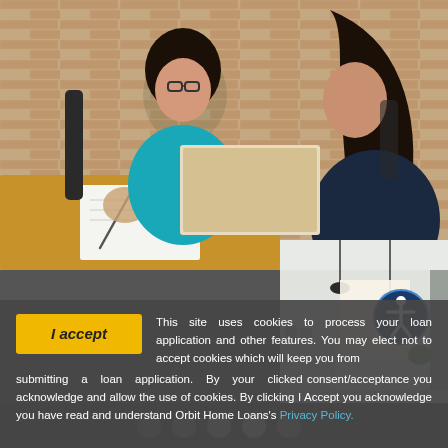[Figure (photo): Two women in a meeting; one in a teal top with glasses writing notes, one in dark clothing facing her, brick wall background]
[Figure (photo): Interior of a modern home kitchen/dining area with pendant lights and light walls]
I accept  This site uses cookies to process your loan application and other features. You may elect not to accept cookies which will keep you from submitting a loan application. By your clicked consent/acceptance you acknowledge and allow the use of cookies. By clicking I Accept you acknowledge you have read and understand Orbit Home Loans's Privacy Policy.